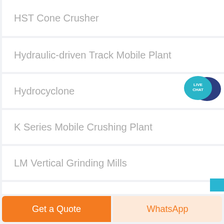HST Cone Crusher
Hydraulic-driven Track Mobile Plant
Hydrocyclone
K Series Mobile Crushing Plant
LM Vertical Grinding Mills
LSX Sand Washing Machine
[Figure (illustration): Live Chat speech bubble icon with teal and dark blue colors, text 'LIVE CHAT']
Get a Quote
WhatsApp